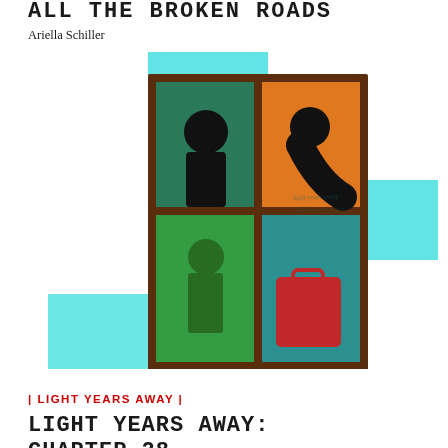ALL THE BROKEN ROADS
Ariella Schiller
[Figure (illustration): Stained glass window artwork showing two silhouetted figures against colorful panes (green, orange, teal, red), framed in dark brown wood, overlaid on cyan/turquoise geometric rectangles]
| LIGHT YEARS AWAY |
LIGHT YEARS AWAY: CHAPTER 28
Rikki Ehrlich